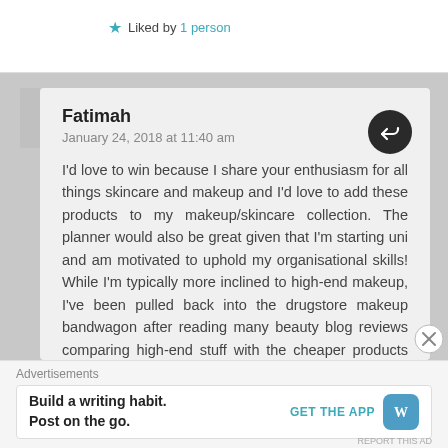★ Liked by 1 person
Fatimah
January 24, 2018 at 11:40 am
I'd love to win because I share your enthusiasm for all things skincare and makeup and I'd love to add these products to my makeup/skincare collection. The planner would also be great given that I'm starting uni and am motivated to uphold my organisational skills! While I'm typically more inclined to high-end makeup, I've been pulled back into the drugstore makeup bandwagon after reading many beauty blog reviews comparing high-end stuff with the cheaper products on local
Advertisements
Build a writing habit. Post on the go. GET THE APP